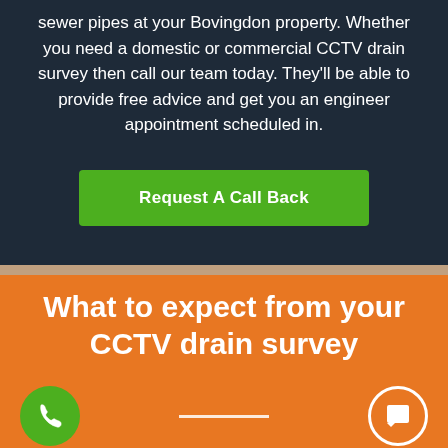sewer pipes at your Bovingdon property. Whether you need a domestic or commercial CCTV drain survey then call our team today. They'll be able to provide free advice and get you an engineer appointment scheduled in.
[Figure (other): Green call-to-action button labeled 'Request A Call Back']
What to expect from your CCTV drain survey
[Figure (other): Green circular phone icon button on the bottom left]
[Figure (other): Orange circular chat/message icon button on the bottom right]